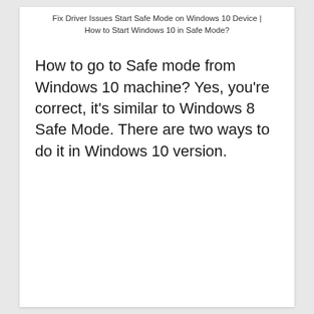Fix Driver Issues Start Safe Mode on Windows 10 Device | How to Start Windows 10 in Safe Mode?
How to go to Safe mode from Windows 10 machine? Yes, you're correct, it's similar to Windows 8 Safe Mode. There are two ways to do it in Windows 10 version.